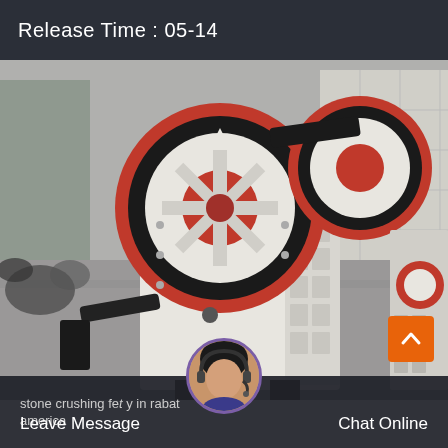Release Time : 05-14
[Figure (photo): Industrial jaw crusher machine with large red and black flywheels, white heavy-duty body with ribbed side panels, photographed in a factory/warehouse setting on a concrete floor.]
stone crushing fe① y in rabat america
Leave Message
Chat Online